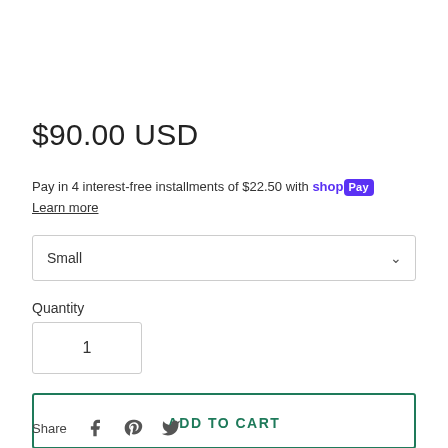$90.00 USD
Pay in 4 interest-free installments of $22.50 with shop Pay
Learn more
Small
Quantity
1
ADD TO CART